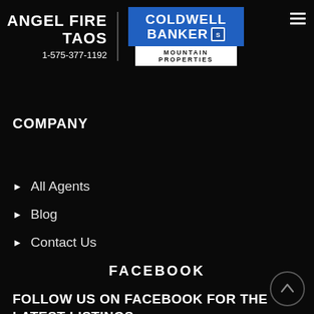ANGEL FIRE
TAOS
1-575-377-1192
[Figure (logo): Coldwell Banker Mountain Properties logo with blue background and white text]
COMPANY
All Agents
Blog
Contact Us
FACEBOOK
FOLLOW US ON FACEBOOK FOR THE LATEST LISTINGS.